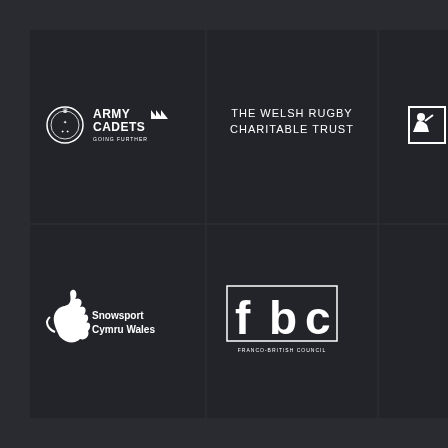[Figure (logo): Army Cadets Going Further logo — badge icon on left, text 'ARMY CADETS' with chevrons on right, 'GOING FURTHER' below]
[Figure (logo): The Welsh Rugby Charitable Trust — text logo in white uppercase letters on dark background]
[Figure (logo): Llamau — square icon with stylized figure, text 'Llamau' in white]
[Figure (logo): Snowsport Cymru Wales — stylized dragon/snowsport figure with text 'Snowsport Cymru Wales']
[Figure (logo): Franco-British Council — 'fbc' letters in large stylized white text with 'FRANCO-BRITISH COUNCIL' below]
[Figure (logo): Empty cell — dark background, no logo]